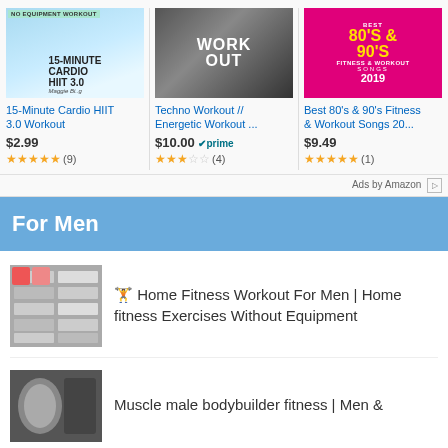[Figure (photo): Amazon ad row with 3 workout products: 15-Minute Cardio HIIT 3.0 Workout, Techno Workout Energetic Workout, Best 80s 90s Fitness Workout Songs 2019]
15-Minute Cardio HIIT 3.0 Workout
$2.99
(9)
Techno Workout // Energetic Workout ...
$10.00 prime
(4)
Best 80's & 90's Fitness & Workout Songs 20...
$9.49
(1)
Ads by Amazon
For Men
🏋 Home Fitness Workout For Men | Home fitness Exercises Without Equipment
Muscle male bodybuilder fitness | Men &